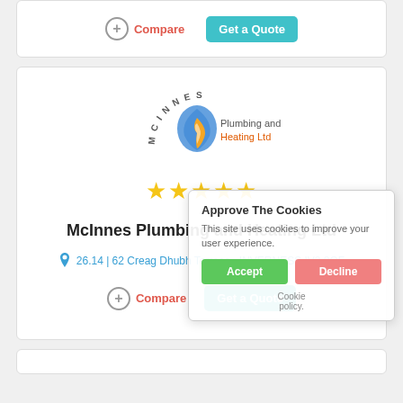[Figure (screenshot): Top card partial view with Compare button and Get a Quote teal button]
[Figure (logo): McInnes Plumbing and Heating Ltd logo with circular text and flame droplet icon]
★★★★★
McInnes Plumbing and Heating Ltd
26.14 | 62 Creag Dhubh Terrace , INVERNESS IV3 8QF
Compare
Get a Quote
Approve The Cookies
This site uses cookies to improve your user experience.
Accept
Decline
Cookie policy.